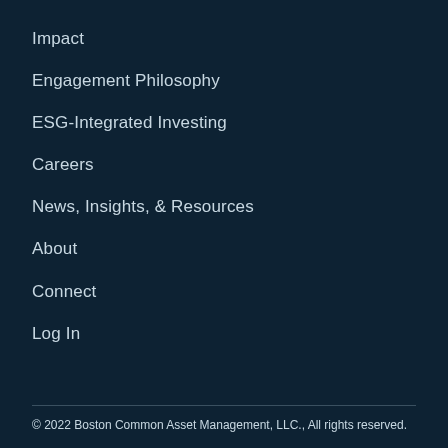Impact
Engagement Philosophy
ESG-Integrated Investing
Careers
News, Insights, & Resources
About
Connect
Log In
© 2022 Boston Common Asset Management, LLC., All rights reserved.